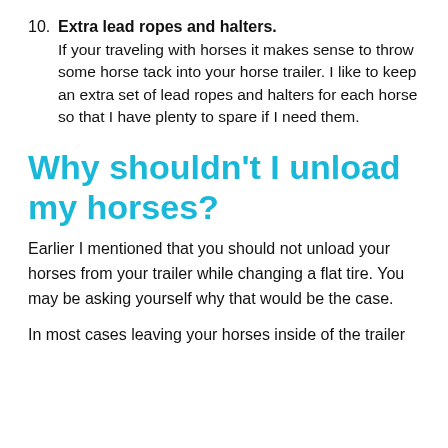10. Extra lead ropes and halters. If your traveling with horses it makes sense to throw some horse tack into your horse trailer. I like to keep an extra set of lead ropes and halters for each horse so that I have plenty to spare if I need them.
Why shouldn’t I unload my horses?
Earlier I mentioned that you should not unload your horses from your trailer while changing a flat tire. You may be asking yourself why that would be the case.
In most cases leaving your horses inside of the trailer